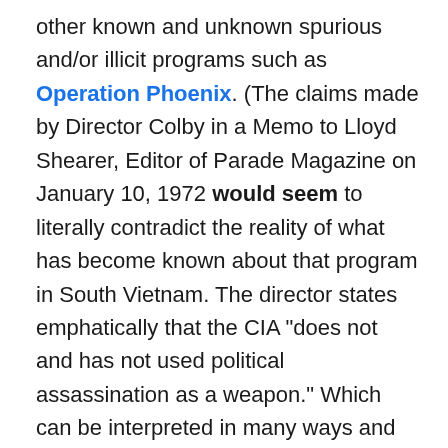other known and unknown spurious and/or illicit programs such as Operation Phoenix. (The claims made by Director Colby in a Memo to Lloyd Shearer, Editor of Parade Magazine on January 10, 1972 would seem to literally contradict the reality of what has become known about that program in South Vietnam. The director states emphatically that the CIA “does not and has not used political assassination as a weapon.” Which can be interpreted in many ways and I’m confident the director consulted with lawyers about that wording to ensure what was literally said in that statement would hold up as accurate in court. My personal theory. However, one might surmise from mountains of plausible evidence over a much larger period of time than was studied for this report — and note the director does not put a timeframe around that assertion, so he must be 100% accurate throughout